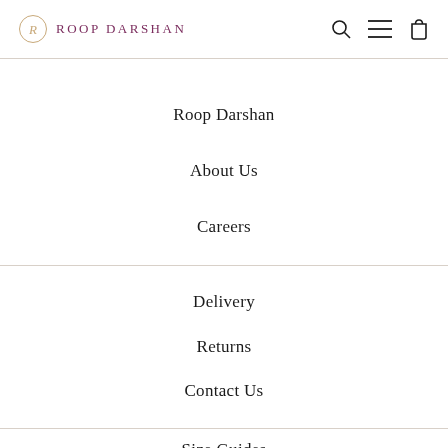ROOP DARSHAN
Roop Darshan
About Us
Careers
Delivery
Returns
Contact Us
Size Guides
Info & care